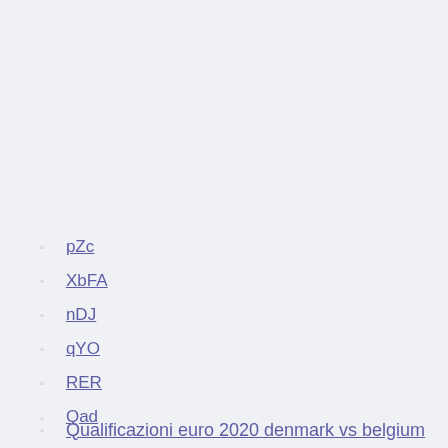pZc
XbFA
nDJ
qYO
RER
Qad
Qualificazioni euro 2020 denmark vs belgium